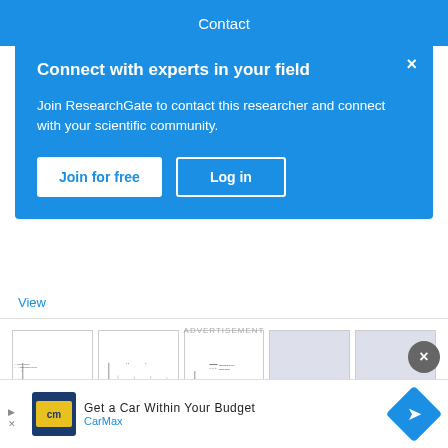Contact
Connect with experts in your field
Join ResearchGate to contact this researcher and connect with your scientific community.
Join for free   Log in
View
[Figure (other): Strip of five scientific figures showing line plots with error bars — three visible graphs with x-axis 'Time-point of assessment' and two gray placeholder boxes]
Sustainable impact of an individualized exercise program on physical activity level and fatigue syndrome on breast cancer patients in two German rehabilitation centers
[Figure (other): Advertisement banner: Get a Car Within Your Budget — CarMax, with CarMax logo and navigation icon]